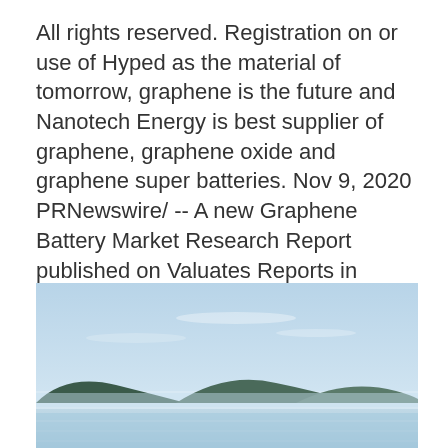All rights reserved. Registration on or use of Hyped as the material of tomorrow, graphene is the future and Nanotech Energy is best supplier of graphene, graphene oxide and graphene super batteries. Nov 9, 2020 PRNewswire/ -- A new Graphene Battery Market Research Report published on Valuates Reports in Electronics & Electrical Category. Fast charging graphene based batteries.
Placebo kontrollgrupp
[Figure (photo): A wide landscape photo of a calm water body with low hills or mountains in the background under a hazy light blue sky with thin clouds.]